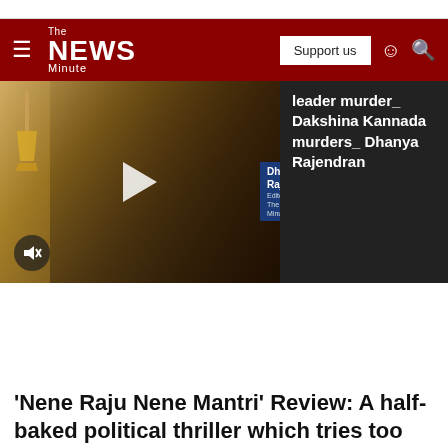The NEWS Minute — Support us
[Figure (screenshot): Video thumbnail showing a woman (Dhanya Rajendran, Editor-in-chief, The News Minute) speaking, with a play button overlay and mute icon. Name tag reads 'Dhanya Rajendran / Editor-in-chief, The News Minute'.]
leader murder_ Dakshina Kannada murders_ Dhanya Rajendran
'Nene Raju Nene Mantri' Review: A half-baked political thriller which tries too hard
What is the half-baked attempt...